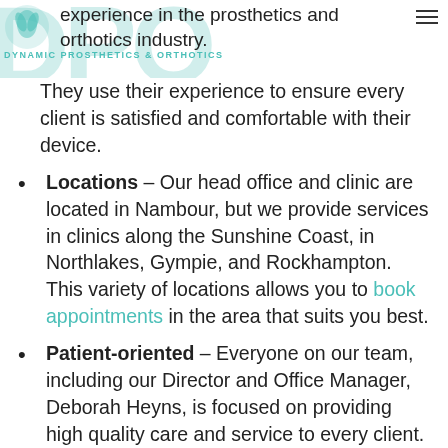experience in the prosthetics and orthotics industry.
They use their experience to ensure every client is satisfied and comfortable with their device.
Locations – Our head office and clinic are located in Nambour, but we provide services in clinics along the Sunshine Coast, in Northlakes, Gympie, and Rockhampton. This variety of locations allows you to book appointments in the area that suits you best.
Patient-oriented – Everyone on our team, including our Director and Office Manager, Deborah Heyns, is focused on providing high quality care and service to every client. We are happy to address any concerns or questions you have about the devices we stock and manufacture. We are also National Disability Insurance Scheme (NDIS) approved and registered with the Department of Veterans Affairs